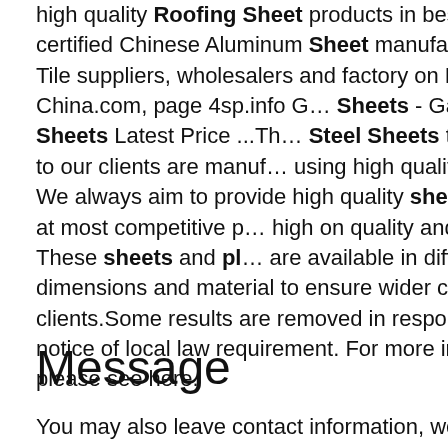high quality Roofing Sheet products in best price from certified Chinese Aluminum Sheet manufacturers, Roof Tile suppliers, wholesalers and factory on Made-in-China.com, page 4sp.info G… Sheets - Galvanized Iron Sheets Latest Price ...The Steel Sheets that we offer to our clients are manufactured using high quality materials. We always aim to provide high quality sheets & Plates at most competitive prices high on quality and durability. These sheets and plates are available in different dimensions and material to ensure wider choice to our clients.Some results are removed in response to a notice of local law requirement. For more information, please see here.
[Figure (photo): Warehouse photo showing large rolls/coils of metal sheets, some yellow/gold colored and some silver/metallic colored, stored in an industrial facility.]
[Figure (infographic): Blue sidebar with three icon buttons: headset/customer service icon, phone/call icon, and Skype icon.]
Message
You may also leave contact information, we will contact